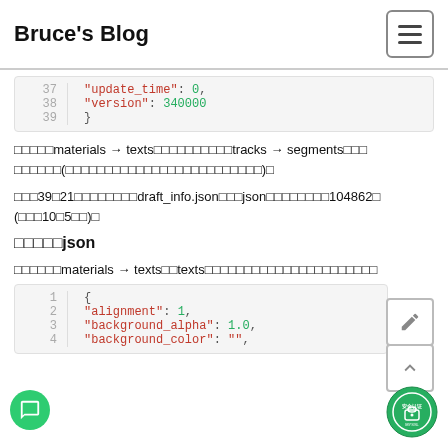Bruce's Blog
[Figure (screenshot): Code block showing lines 37-39 of JSON: "update_time": 0, "version": 340000, }]
□□□□□materials → texts□□□□□□□□□□tracks → segments□□□ □□□□□□(□□□□□□□□□□□□□□□□□□□□□□□□□)□
□□□39□21□□□□□□□□draft_info.json□□□json□□□□□□□□104862□ (□□□10□5□□)□
□□□□□json
□□□□□□materials → texts□□texts□□□□□□□□□□□□□□□□□□□□□□
[Figure (screenshot): Code block showing lines 1-4 of JSON: { "alignment": 1, "background_alpha": 1.0, "background_color": ""]